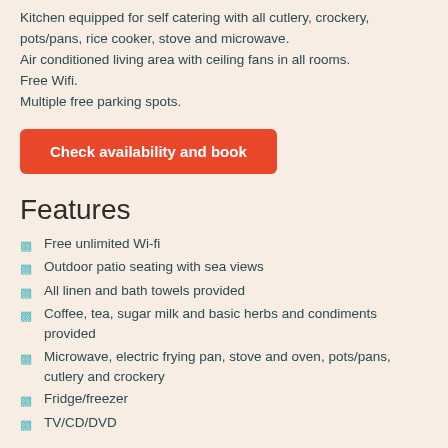Kitchen equipped for self catering with all cutlery, crockery, pots/pans, rice cooker, stove and microwave.
Air conditioned living area with ceiling fans in all rooms.
Free Wifi.
Multiple free parking spots.
Check availability and book
Features
Free unlimited Wi-fi
Outdoor patio seating with sea views
All linen and bath towels provided
Coffee, tea, sugar milk and basic herbs and condiments provided
Microwave, electric frying pan, stove and oven, pots/pans, cutlery and crockery
Fridge/freezer
TV/CD/DVD